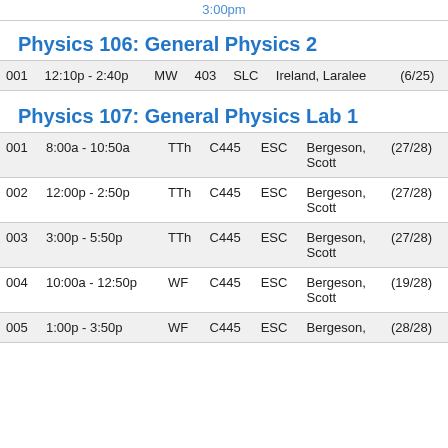3:00pm
Physics 106: General Physics 2
| Section | Time | Days | Room | Bldg | Instructor | Enrollment |
| --- | --- | --- | --- | --- | --- | --- |
| 001 | 12:10p - 2:40p | MW | 403 | SLC | Ireland, Laralee | (6/25) |
Physics 107: General Physics Lab 1
| Section | Time | Days | Room | Bldg | Instructor | Enrollment |
| --- | --- | --- | --- | --- | --- | --- |
| 001 | 8:00a - 10:50a | TTh | C445 | ESC | Bergeson, Scott | (27/28) |
| 002 | 12:00p - 2:50p | TTh | C445 | ESC | Bergeson, Scott | (27/28) |
| 003 | 3:00p - 5:50p | TTh | C445 | ESC | Bergeson, Scott | (27/28) |
| 004 | 10:00a - 12:50p | WF | C445 | ESC | Bergeson, Scott | (19/28) |
| 005 | 1:00p - 3:50p | WF | C445 | ESC | Bergeson, | (28/28) |